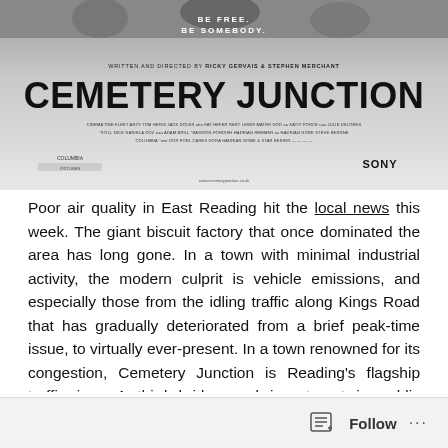[Figure (photo): Cemetery Junction movie poster. Written and Directed by Ricky Gervais & Stephen Merchant. Title 'CEMETERY JUNCTION' in large bold text. Various production credits below. Sony Pictures logo.]
Poor air quality in East Reading hit the local news this week.  The giant biscuit factory that once dominated the area has long gone.  In a town with minimal industrial activity, the modern culprit is vehicle emissions, and especially those from the idling traffic along Kings Road that has gradually deteriorated from a brief peak-time issue, to virtually ever-present.  In a town renowned for its congestion, Cemetery Junction is Reading's flagship traffic jam.  A third bridge and investment in public transport are clearly the focus for a solution, but I think we should look closely at how we use our limited road space to keep things moving better.  The current situation is bad for residents, visitors, commuters and the environment, and I think we should explore other options.
Follow ...